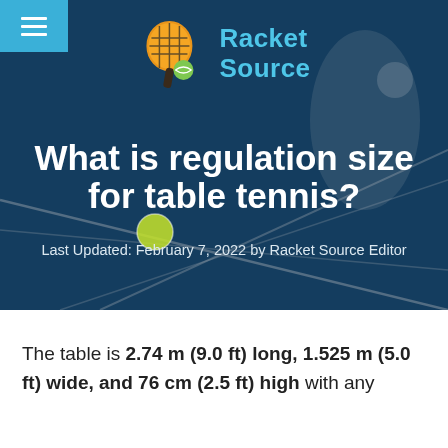[Figure (photo): Hero banner showing a tennis player on a blue court from above, with a Racket Source logo overlay, hamburger menu button in top-left corner, and article title and metadata overlaid on the image.]
What is regulation size for table tennis?
Last Updated: February 7, 2022 by Racket Source Editor
The table is 2.74 m (9.0 ft) long, 1.525 m (5.0 ft) wide, and 76 cm (2.5 ft) high with any